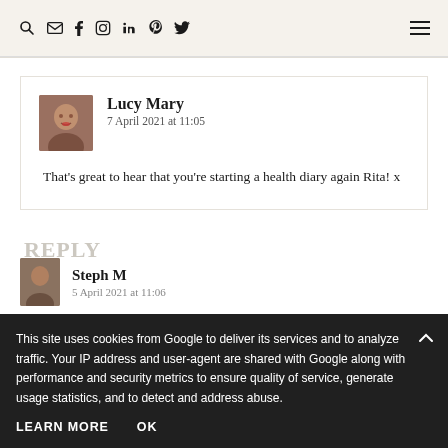Navigation header with search, email, facebook, instagram, linkedin, pinterest, twitter icons and hamburger menu
Lucy Mary
7 April 2021 at 11:05
That's great to hear that you're starting a health diary again Rita! x
REPLY
Steph M
5 April 2021 at 11:06
This site uses cookies from Google to deliver its services and to analyze traffic. Your IP address and user-agent are shared with Google along with performance and security metrics to ensure quality of service, generate usage statistics, and to detect and address abuse.
LEARN MORE
OK